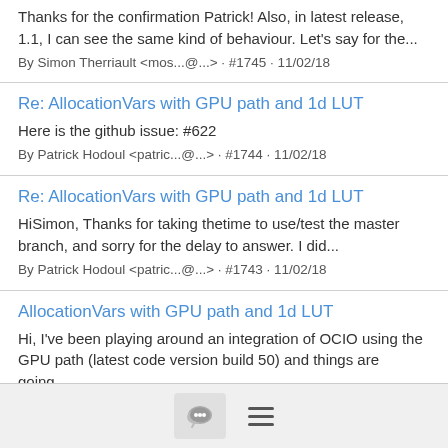Thanks for the confirmation Patrick! Also, in latest release, 1.1, I can see the same kind of behaviour. Let's say for the...
By Simon Therriault <mos...@...> · #1745 · 11/02/18
Re: AllocationVars with GPU path and 1d LUT
Here is the github issue: #622
By Patrick Hodoul <patric...@...> · #1744 · 11/02/18
Re: AllocationVars with GPU path and 1d LUT
HiSimon, Thanks for taking thetime to use/test the master branch, and sorry for the delay to answer. I did...
By Patrick Hodoul <patric...@...> · #1743 · 11/02/18
AllocationVars with GPU path and 1d LUT
Hi, I've been playing around an integration of OCIO using the GPU path (latest code version build 50) and things are going...
By mos...@... · #1742 · 10/29/18